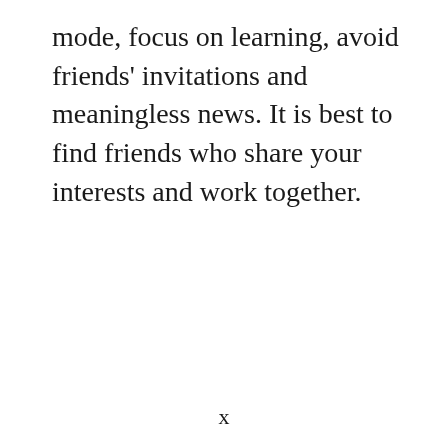mode, focus on learning, avoid friends' invitations and meaningless news. It is best to find friends who share your interests and work together.
x